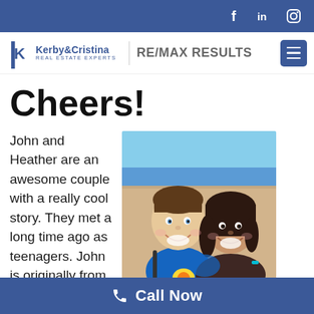Social media icons: Facebook, LinkedIn, Instagram
Kerby&Cristina REAL ESTATE EXPERTS | RE/MAX RESULTS
Cheers!
John and Heather are an awesome couple with a really cool story. They met a long time ago as teenagers. John is originally from
[Figure (photo): A smiling couple at a beach. A man in a blue t-shirt and a woman in a dark top posing together with a sandy beach and blue water in the background.]
Call Now